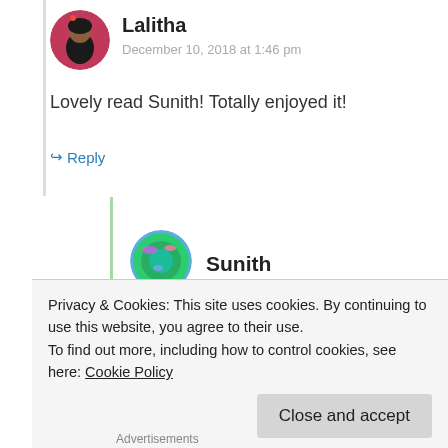[Figure (photo): Circular avatar photo of Lalitha, a woman with dark hair, pink background]
Lalitha
December 10, 2018 at 1:46 pm
Lovely read Sunith! Totally enjoyed it!
↳ Reply
[Figure (photo): Circular avatar photo of Sunith, globe/earth with pink flowers]
Sunith
Privacy & Cookies: This site uses cookies. By continuing to use this website, you agree to their use.
To find out more, including how to control cookies, see here: Cookie Policy
Close and accept
Advertisements